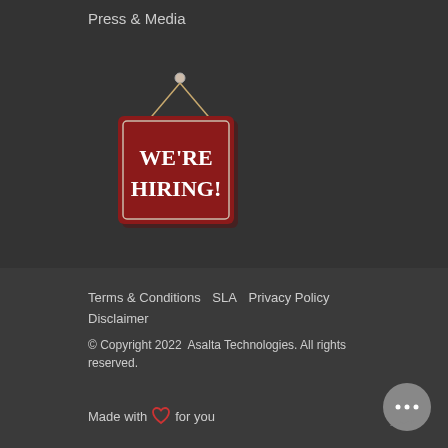Press & Media
[Figure (illustration): A red hanging sign with white serif text reading WE'RE HIRING! suspended by a string with a rounded nail at top]
Terms & Conditions   SLA   Privacy Policy   Disclaimer
© Copyright 2022  Asalta Technologies. All rights reserved.
Made with ♥ for you
[Figure (illustration): Gray circular chat bubble icon with three dots inside]